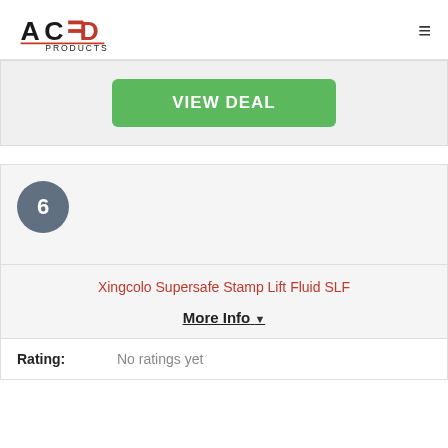ACED PRODUCTS
VIEW DEAL
6
Xingcolo Supersafe Stamp Lift Fluid SLF
More Info ▼
Rating: No ratings yet